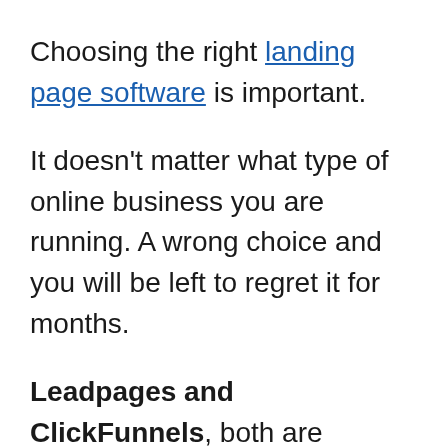Choosing the right landing page software is important.
It doesn't matter what type of online business you are running. A wrong choice and you will be left to regret it for months.
Leadpages and ClickFunnels, both are excellent conversion marketing platforms. They excel at what they do — and do it well. As a business, it is all